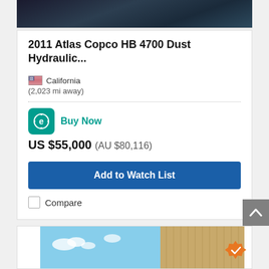[Figure (photo): Partial top view of dark machinery equipment]
2011 Atlas Copco HB 4700 Dust Hydraulic...
California
(2,023 mi away)
Buy Now
US $55,000 (AU $80,116)
Add to Watch List
Compare
[Figure (photo): Partial bottom listing card showing sky and wooden structure with orange verified badge]